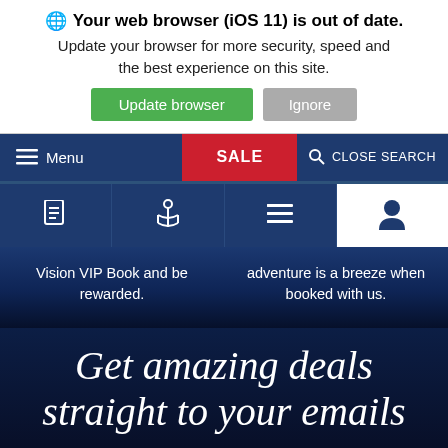Your web browser (iOS 11) is out of date. Update your browser for more security, speed and the best experience on this site.
[Figure (screenshot): Navigation bar with hamburger Menu icon, red SALE button, and CLOSE SEARCH option on a dark navy background]
[Figure (screenshot): Icon tab bar with document, anchor, lines, and person icons on navy background; last icon tab (person) has white background]
Vision VIP Book and be rewarded.
adventure is a breeze when booked with us.
Get amazing deals straight to your emails